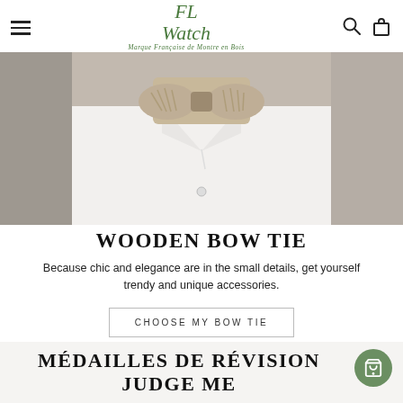FL Watch — Marque Française de Montre en Bois
[Figure (photo): Close-up photo of a person wearing a white shirt with a decorative wooden bow tie featuring a leaf/floral cutout pattern]
WOODEN BOW TIE
Because chic and elegance are in the small details, get yourself trendy and unique accessories.
CHOOSE MY BOW TIE
MÉDAILLES DE RÉVISION JUDGE ME